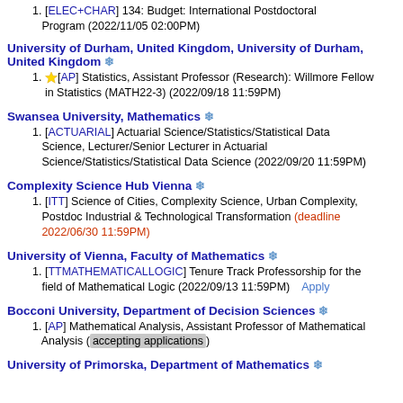1. [ELEC+CHAR] 134: Budget: International Postdoctoral Program (2022/11/05 02:00PM)
University of Durham, United Kingdom, University of Durham, United Kingdom ❄
1. ⭐[AP] Statistics, Assistant Professor (Research): Willmore Fellow in Statistics (MATH22-3) (2022/09/18 11:59PM)
Swansea University, Mathematics ❄
1. [ACTUARIAL] Actuarial Science/Statistics/Statistical Data Science, Lecturer/Senior Lecturer in Actuarial Science/Statistics/Statistical Data Science (2022/09/20 11:59PM)
Complexity Science Hub Vienna ❄
1. [ITT] Science of Cities, Complexity Science, Urban Complexity, Postdoc Industrial & Technological Transformation (deadline 2022/06/30 11:59PM)
University of Vienna, Faculty of Mathematics ❄
1. [TTMATHEMATICALLOGIC] Tenure Track Professorship for the field of Mathematical Logic (2022/09/13 11:59PM)  Apply
Bocconi University, Department of Decision Sciences ❄
1. [AP] Mathematical Analysis, Assistant Professor of Mathematical Analysis (accepting applications)
University of Primorska, Department of Mathematics ❄